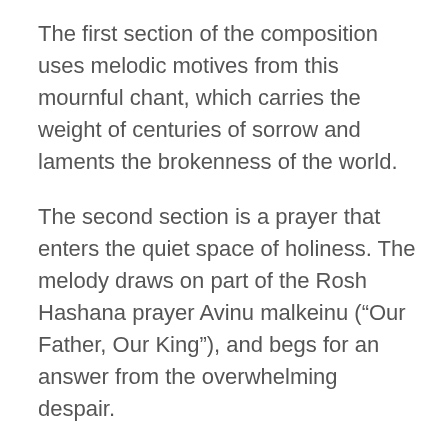The first section of the composition uses melodic motives from this mournful chant, which carries the weight of centuries of sorrow and laments the brokenness of the world.
The second section is a prayer that enters the quiet space of holiness. The melody draws on part of the Rosh Hashana prayer Avinu malkeinu (“Our Father, Our King”), and begs for an answer from the overwhelming despair.
The answer comes in the third section, as the music gradually moves into a dance of redemption and is transformed into an ecstatic Hasidic melody (based on a Chabad-Hasidic melody from Sefer Hanigunim, vol. 2